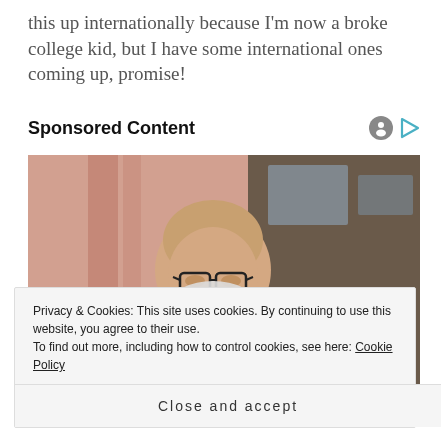this up internationally because I'm now a broke college kid, but I have some international ones coming up, promise!
Sponsored Content
[Figure (photo): An elderly bald man with glasses and a white beard, wearing a brown tweed jacket and a yellow measuring tape around his neck, leaning over a sewing machine in a workshop setting with pink/salmon curtains in the background.]
Privacy & Cookies: This site uses cookies. By continuing to use this website, you agree to their use.
To find out more, including how to control cookies, see here: Cookie Policy
Close and accept